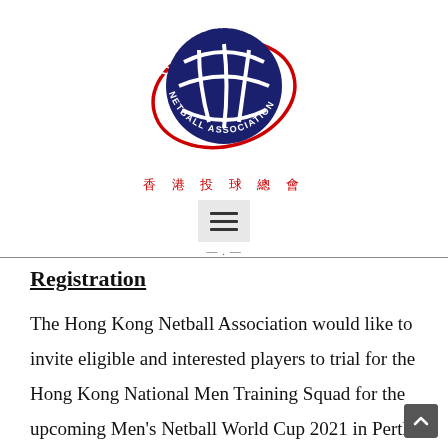[Figure (logo): The Hong Kong Netball Association circular logo with a navy blue netball design and red oval ring, text reading 'THE HONG KONG NETBALL ASSOCIATION' around the perimeter]
香 港 投 球 總 會
[Figure (other): Hamburger menu icon with three horizontal lines inside a light grey square box]
Registration
The Hong Kong Netball Association would like to invite eligible and interested players to trial for the Hong Kong National Men Training Squad for the upcoming Men's Netball World Cup 2021 in Perth, Australia. Training times and venues are determined by